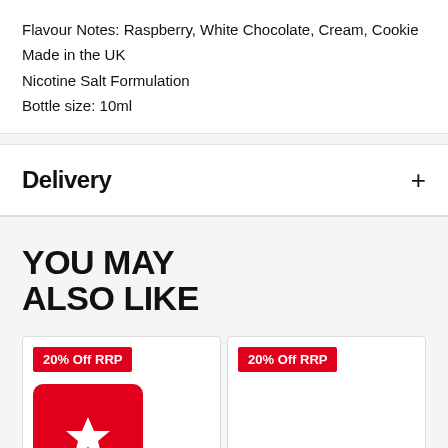Flavour Notes: Raspberry, White Chocolate, Cream, Cookie
Made in the UK
Nicotine Salt Formulation
Bottle size: 10ml
Delivery
YOU MAY ALSO LIKE
[Figure (other): Product card with red '20% Off RRP' badge and red rounded square icon with white star]
[Figure (other): Product card with red '20% Off RRP' badge, partially visible on right edge]